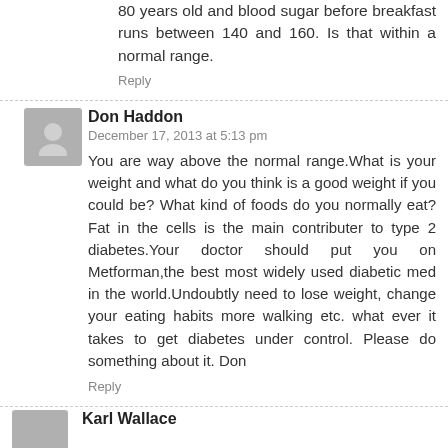80 years old and blood sugar before breakfast runs between 140 and 160. Is that within a normal range.
Reply
Don Haddon
December 17, 2013 at 5:13 pm
You are way above the normal range.What is your weight and what do you think is a good weight if you could be? What kind of foods do you normally eat? Fat in the cells is the main contributer to type 2 diabetes.Your doctor should put you on Metforman,the best most widely used diabetic med in the world.Undoubtly need to lose weight, change your eating habits more walking etc. what ever it takes to get diabetes under control. Please do something about it. Don
Reply
Karl Wallace